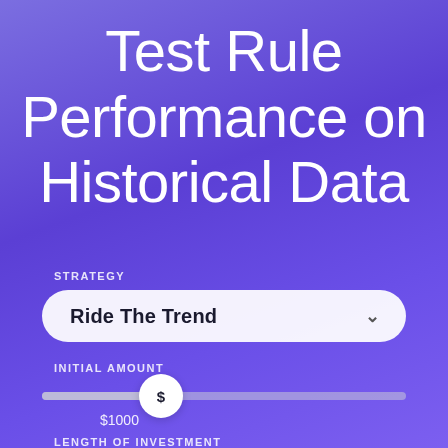Test Rule Performance on Historical Data
STRATEGY
[Figure (other): Dropdown selector showing 'Ride The Trend' with a chevron arrow on the right, styled as a white rounded pill on purple background]
INITIAL AMOUNT
[Figure (other): Horizontal slider with a circular white thumb showing a dollar sign, positioned near the left. Below the thumb the value '$1000' is displayed.]
LENGTH OF INVESTMENT